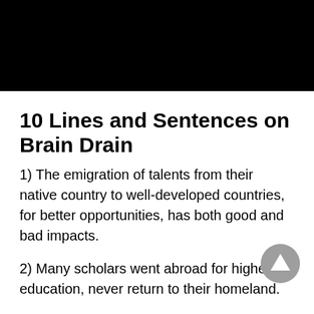[Figure (photo): Black rectangular image at the top of the page]
10 Lines and Sentences on Brain Drain
1) The emigration of talents from their native country to well-developed countries, for better opportunities, has both good and bad impacts.
2) Many scholars went abroad for higher education, never return to their homeland.
3) As per an international report, India stands first